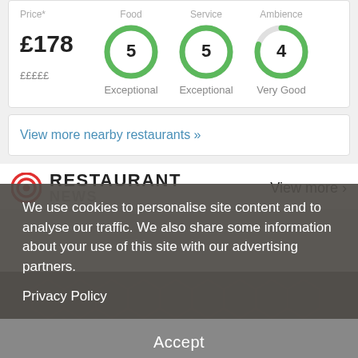Price* | Food | Service | Ambience
[Figure (infographic): Restaurant rating display: Price £178 (£££££), Food donut 5 Exceptional, Service donut 5 Exceptional, Ambience donut 4 Very Good]
View more nearby restaurants »
RESTAURANT NEWS — View more ›
We use cookies to personalise site content and to analyse our traffic. We also share some information about your use of this site with our advertising partners.
Privacy Policy
Accept